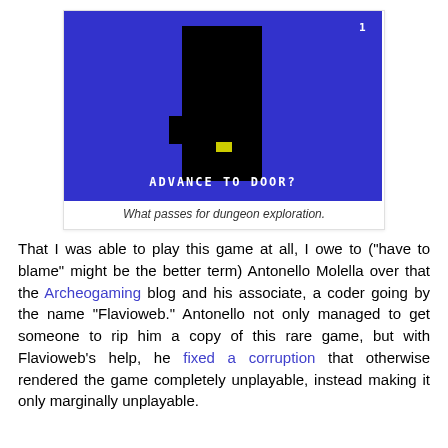[Figure (screenshot): Retro video game screenshot showing a black door/tower shape on a blue background with yellow key item, text at bottom reads ADVANCE TO DOOR?]
What passes for dungeon exploration.
That I was able to play this game at all, I owe to ("have to blame" might be the better term) Antonello Molella over that the Archeogaming blog and his associate, a coder going by the name "Flavioweb." Antonello not only managed to get someone to rip him a copy of this rare game, but with Flavioweb's help, he fixed a corruption that otherwise rendered the game completely unplayable, instead making it only marginally unplayable.